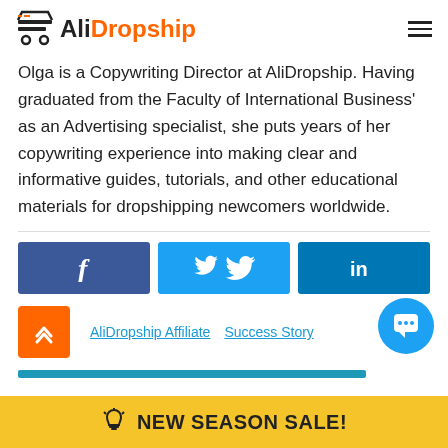AliDropship
Olga is a Copywriting Director at AliDropship. Having graduated from the Faculty of International Business' as an Advertising specialist, she puts years of her copywriting experience into making clear and informative guides, tutorials, and other educational materials for dropshipping newcomers worldwide.
[Figure (infographic): Three social sharing buttons: Facebook (dark blue), Twitter (light blue), LinkedIn (teal blue)]
AliDropship Affiliate
Success Story
NEW SEASON SALE!